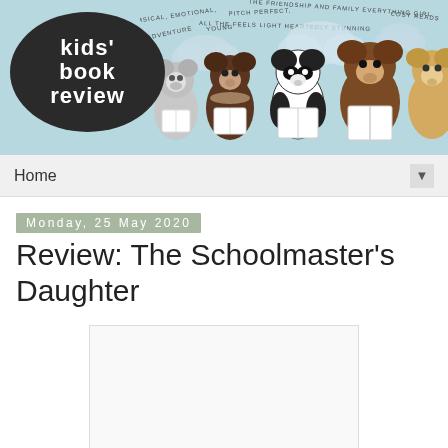[Figure (illustration): Kids' Book Review website header banner showing a logo with 'kids' book review' text in a dark oval on the left, and illustrated cartoon bears/animals reading books on a light blue background on the right, with curved text labels above the animals]
Home
Monday, 25 May 2020
Review: The Schoolmaster's Daughter
[Figure (illustration): Book cover image placeholder - white/light grey rectangle]